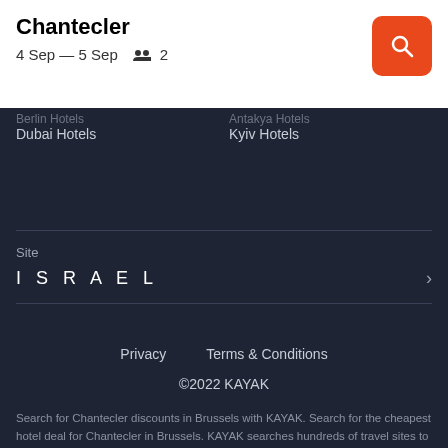Chantecler
4 Sep — 5 Sep  2
Dubai Hotels
Kyiv Hotels
Site
ISRAEL
Privacy    Terms & Conditions
©2022 KAYAK
Search for Chantecler discounts in Brussels with KAYAK. Search for the cheapest hotel deal for Chantecler in Brussels. KAYAK searches hundreds of travel sites to help you find and book the hotel deal at Chantecler that suits you best. ₪370 per night (Latest starting price for this hotel).